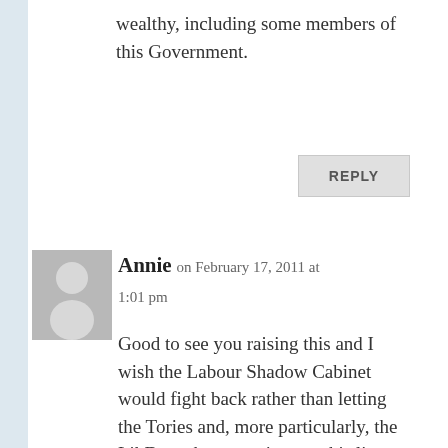wealthy, including some members of this Government.
REPLY
Annie on February 17, 2011 at 1:01 pm
Good to see you raising this and I wish the Labour Shadow Cabinet would fight back rather than letting the Tories and, more particularly, the LibDems keep trotting out this line without redress. Sadly, I don't share your faith that the majority of the